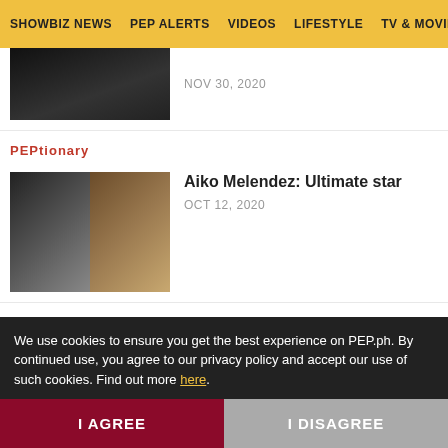SHOWBIZ NEWS | PEP ALERTS | VIDEOS | LIFESTYLE | TV & MOVIE
[Figure (photo): Partial thumbnail of article above, cropped at top]
NOV 30, 2020
PEPtionary
[Figure (photo): Two side-by-side photos of Aiko Melendez]
Aiko Melendez: Ultimate star
OCT 12, 2020
LOCAL NEWS
[Figure (photo): Two side-by-side photos of Eric Fructuoso]
Eric Fructuoso does TikTok, sells embutido, and wants a Gwapings reunion
AUG 18, 2020  EXCLUSIVE
We use cookies to ensure you get the best experience on PEP.ph. By continued use, you agree to our privacy policy and accept our use of such cookies. Find out more here.
I AGREE
I DISAGREE